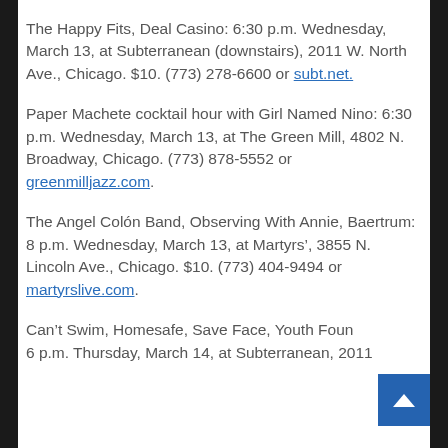The Happy Fits, Deal Casino: 6:30 p.m. Wednesday, March 13, at Subterranean (downstairs), 2011 W. North Ave., Chicago. $10. (773) 278-6600 or subt.net.
Paper Machete cocktail hour with Girl Named Nino: 6:30 p.m. Wednesday, March 13, at The Green Mill, 4802 N. Broadway, Chicago. (773) 878-5552 or greenmilljazz.com.
The Angel Colón Band, Observing With Annie, Baertrum: 8 p.m. Wednesday, March 13, at Martyrs', 3855 N. Lincoln Ave., Chicago. $10. (773) 404-9494 or martyrslive.com.
Can't Swim, Homesafe, Save Face, Youth Foun… 6 p.m. Thursday, March 14, at Subterranean, 2011…